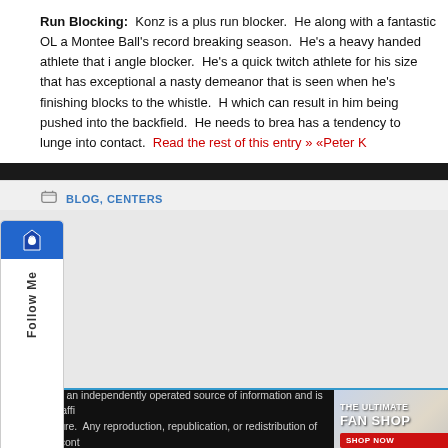Run Blocking: Konz is a plus run blocker. He along with a fantastic OL a... Montee Ball's record breaking season. He's a heavy handed athlete that i... angle blocker. He's a quick twitch athlete for his size that has exceptional... a nasty demeanor that is seen when he's finishing blocks to the whistle. H... which can result in him being pushed into the backfield. He needs to brea... has a tendency to lunge into contact. Read the rest of this entry » «Peter K...
BLOG, CENTERS
[Figure (other): Blue gradient banner section with a Follow Me sidebar widget on the left]
This site is an independently operated source of information and is in no way affi... NFL's Future. Any reproduction, republication, or redistribution of this site's cont...
[Figure (infographic): The Ultimate Fan Shop advertisement banner showing a navy Michigan hat and red shirt with SHOP NOW button]